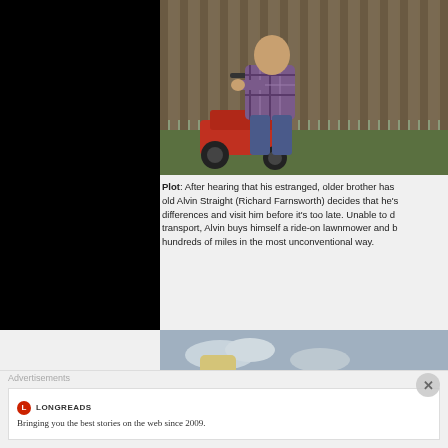[Figure (photo): Man riding a red ride-on lawnmower outdoors near a wooden fence, wearing a plaid shirt and jeans]
Plot: After hearing that his estranged, older brother has old Alvin Straight (Richard Farnsworth) decides that he's differences and visit him before it's too late. Unable to d transport, Alvin buys himself a ride-on lawnmower and b hundreds of miles in the most unconventional way.
[Figure (photo): Elderly man wearing a cowboy hat and red jacket, outdoors in a field]
Advertisements
[Figure (logo): Longreads logo - red circle with L, text LONGREADS]
Bringing you the best stories on the web since 2009.